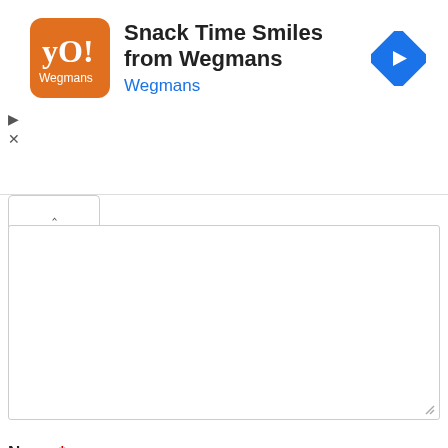[Figure (screenshot): Ad banner for 'Snack Time Smiles from Wegmans' with orange logo, bold title text, blue Wegmans subtitle, and a blue diamond navigation arrow icon. Play and close controls on left side.]
Name *
Email *
Website